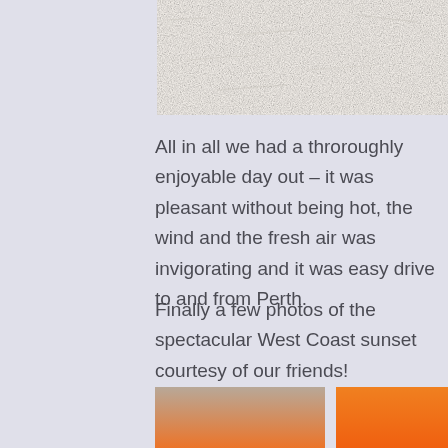[Figure (photo): A close-up photo of a white/light grey textured sandy or rock surface, occupying the top portion of the page.]
All in all we had a throroughly enjoyable day out – it was pleasant without being hot, the wind and the fresh air was invigorating and it was easy drive to and from Perth.
Finally a few photos of the spectacular West Coast sunset courtesy of our friends!
[Figure (photo): A sunset photo showing orange and red sky near the horizon over a dark sea, with a faint sun disc.]
[Figure (photo): A solid orange gradient sunset sky photo, deep orange throughout.]